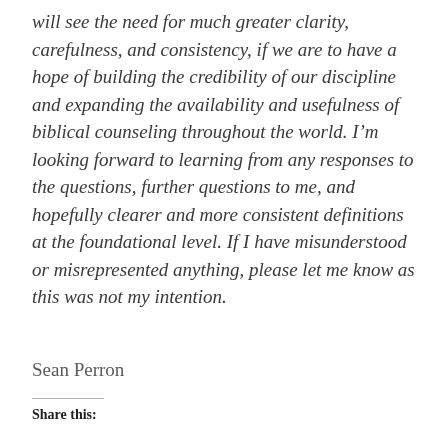will see the need for much greater clarity, carefulness, and consistency, if we are to have a hope of building the credibility of our discipline and expanding the availability and usefulness of biblical counseling throughout the world. I'm looking forward to learning from any responses to the questions, further questions to me, and hopefully clearer and more consistent definitions at the foundational level. If I have misunderstood or misrepresented anything, please let me know as this was not my intention.
Sean Perron
Share this: